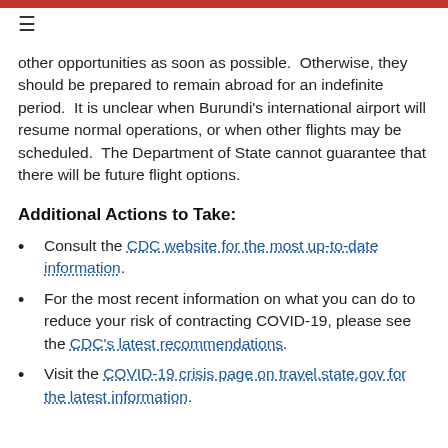≡
other opportunities as soon as possible.  Otherwise, they should be prepared to remain abroad for an indefinite period.  It is unclear when Burundi's international airport will resume normal operations, or when other flights may be scheduled.  The Department of State cannot guarantee that there will be future flight options.
Additional Actions to Take:
Consult the CDC website for the most up-to-date information.
For the most recent information on what you can do to reduce your risk of contracting COVID-19, please see the CDC's latest recommendations.
Visit the COVID-19 crisis page on travel.state.gov for the latest information.